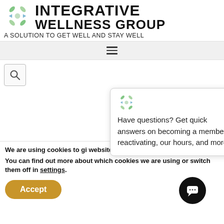[Figure (logo): Integrative Wellness Group logo with green snowflake/asterisk icon and text 'INTEGRATIVE WELLNESS GROUP - A SOLUTION TO GET WELL AND STAY WELL']
[Figure (screenshot): Navigation hamburger menu bar]
[Figure (screenshot): Search icon and chat popup overlay with green logo, close X button, and text 'Have questions? Get quick answers on becoming a member, reactivating, our hours, and more!']
Root Ca
We are using cookies to gi... website.
You can find out more about which cookies we are using or switch them off in settings.
[Figure (screenshot): Accept button (golden/amber pill shape) and chat bubble icon]